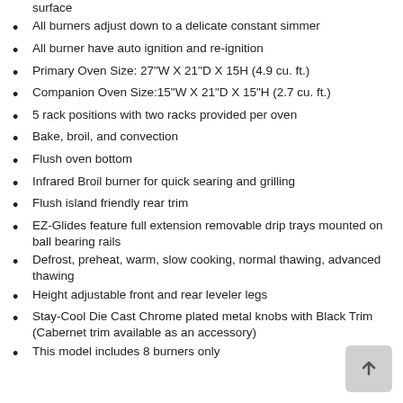porcelain coated cast iron platform grates for a single cooking surface
All burners adjust down to a delicate constant simmer
All burner have auto ignition and re-ignition
Primary Oven Size: 27"W X 21"D X 15H (4.9 cu. ft.)
Companion Oven Size:15"W X 21"D X 15"H (2.7 cu. ft.)
5 rack positions with two racks provided per oven
Bake, broil, and convection
Flush oven bottom
Infrared Broil burner for quick searing and grilling
Flush island friendly rear trim
EZ-Glides feature full extension removable drip trays mounted on ball bearing rails
Defrost, preheat, warm, slow cooking, normal thawing, advanced thawing
Height adjustable front and rear leveler legs
Stay-Cool Die Cast Chrome plated metal knobs with Black Trim (Cabernet trim available as an accessory)
This model includes 8 burners only